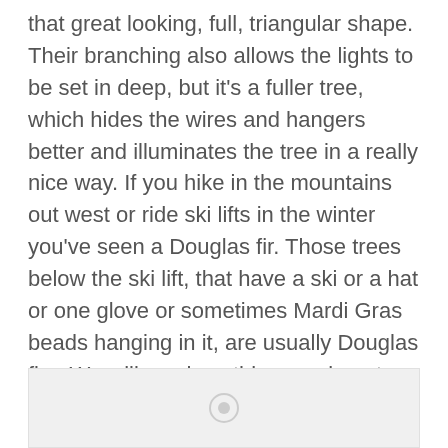that great looking, full, triangular shape. Their branching also allows the lights to be set in deep, but it's a fuller tree, which hides the wires and hangers better and illuminates the tree in a really nice way. If you hike in the mountains out west or ride ski lifts in the winter you've seen a Douglas fir. Those trees below the ski lift, that have a ski or a hat or one glove or sometimes Mardi Gras beads hanging in it, are usually Douglas firs. We will see how this experiment goes. Hopefully, there are a few people out there looking for a little change this Christmas.
[Figure (photo): Partially visible image at the bottom of the page, mostly cut off]